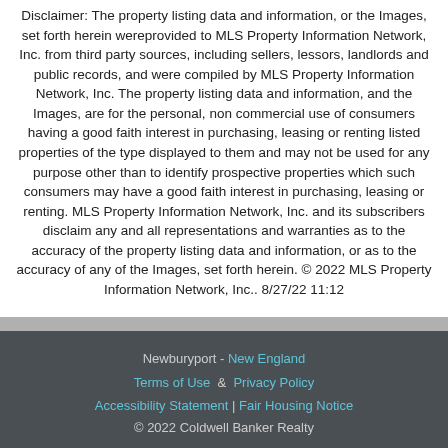Disclaimer: The property listing data and information, or the Images, set forth herein wereprovided to MLS Property Information Network, Inc. from third party sources, including sellers, lessors, landlords and public records, and were compiled by MLS Property Information Network, Inc. The property listing data and information, and the Images, are for the personal, non commercial use of consumers having a good faith interest in purchasing, leasing or renting listed properties of the type displayed to them and may not be used for any purpose other than to identify prospective properties which such consumers may have a good faith interest in purchasing, leasing or renting. MLS Property Information Network, Inc. and its subscribers disclaim any and all representations and warranties as to the accuracy of the property listing data and information, or as to the accuracy of any of the Images, set forth herein. © 2022 MLS Property Information Network, Inc.. 8/27/22 11:12
Newburyport - New England | Terms of Use & Privacy Policy | Accessibility Statement | Fair Housing Notice | © 2022 Coldwell Banker Realty